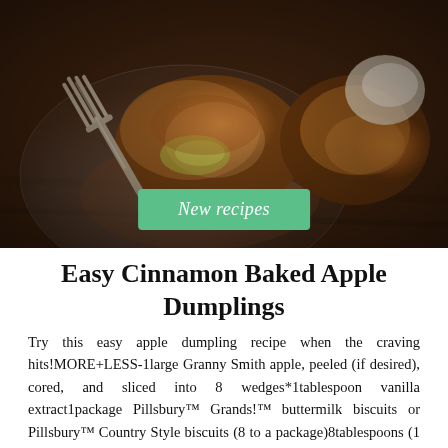[Figure (photo): Photo of cinnamon baked apple dumplings on a plate with a fork, dusted with cinnamon sugar. A green badge overlay reads 'New recipes'.]
Easy Cinnamon Baked Apple Dumplings
Try this easy apple dumpling recipe when the craving hits!MORE+LESS-1large Granny Smith apple, peeled (if desired), cored, and sliced into 8 wedges*1tablespoon vanilla extract1package Pillsbury™ Grands!™ buttermilk biscuits or Pillsbury™ Country Style biscuits (8 to a package)8tablespoons (1 stick or 1/2 cup) butter, melted1/2cup pure maple syrup (for serving, if